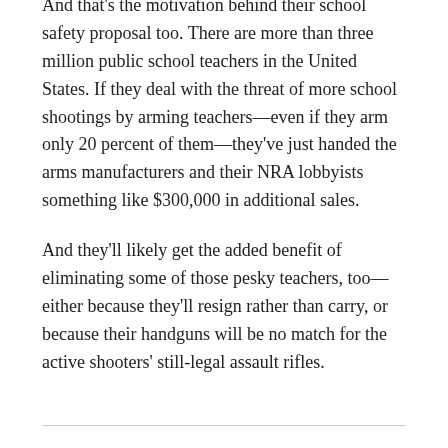And that's the motivation behind their school safety proposal too. There are more than three million public school teachers in the United States. If they deal with the threat of more school shootings by arming teachers—even if they arm only 20 percent of them—they've just handed the arms manufacturers and their NRA lobbyists something like $300,000 in additional sales.
And they'll likely get the added benefit of eliminating some of those pesky teachers, too—either because they'll resign rather than carry, or because their handguns will be no match for the active shooters' still-legal assault rifles.